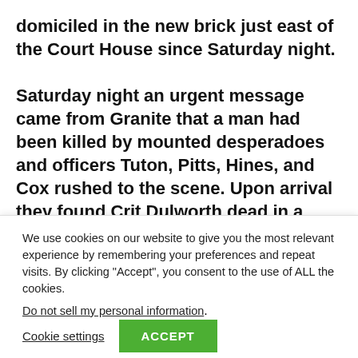domiciled in the new brick just east of the Court House since Saturday night.

Saturday night an urgent message came from Granite that a man had been killed by mounted desperadoes and officers Tuton, Pitts, Hines, and Cox rushed to the scene. Upon arrival they found Crit Dulworth dead in a manner, but only dead drunk. He had been assaulted by two mounted men and according to the evidence uncovered by the officers, had been robbed of a gallon of first class knock out drops [cut off]
We use cookies on our website to give you the most relevant experience by remembering your preferences and repeat visits. By clicking "Accept", you consent to the use of ALL the cookies.
Do not sell my personal information.
Cookie settings
ACCEPT